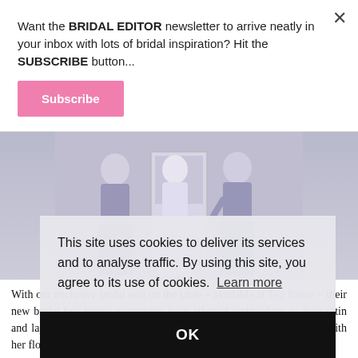Want the BRIDAL EDITOR newsletter to arrive neatly in your inbox with lots of bridal inspiration? Hit the SUBSCRIBE button...
[Figure (other): Subscribe button - pink rounded rectangle with white text 'Subscribe']
[Figure (photo): Photo of bridesmaids in lavender/lilac dresses standing together]
This site uses cookies to deliver its services and to analyse traffic. By using this site, you agree to its use of cookies. Learn more
[Figure (other): Black OK button overlay]
With our exclusive bridal edit on the table – available at Ted Baker – their new bridal line brings everything from ethereal embroidery, to luxe satin and layers of tulle to the floor for the new season. Discover Silvya with her floor-sweeping maxi skirt and